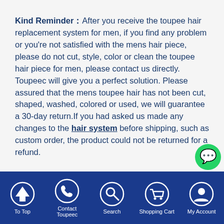Kind Reminder：After you receive the toupee hair replacement system for men, if you find any problem or you're not satisfied with the mens hair piece, please do not cut, style, color or clean the toupee hair piece for men, please contact us directly. Toupeec will give you a perfect solution. Please assured that the mens toupee hair has not been cut, shaped, washed, colored or used, we will guarantee a 30-day return.If you had asked us made any changes to the hair system before shipping, such as custom order, the product could not be returned for a refund.
To Top | Contact Toupeec | Search | Shopping Cart | My Account